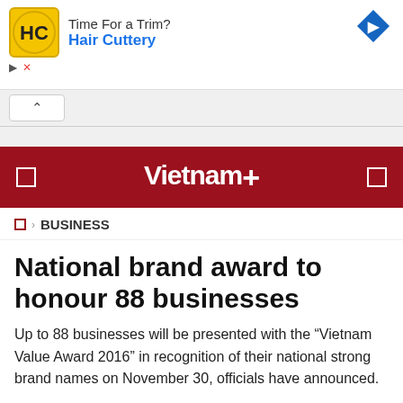[Figure (screenshot): Ad banner for Hair Cuttery showing logo, 'Time For a Trim?' text, blue arrow navigation icon, and close controls]
[Figure (screenshot): Collapse/navigation bar with up-arrow button]
Vietnam+
BUSINESS
National brand award to honour 88 businesses
Up to 88 businesses will be presented with the “Vietnam Value Award 2016” in recognition of their national strong brand names on November 30, officials have announced.
VNA  -  Wednesday, November 23, 2016 21:22